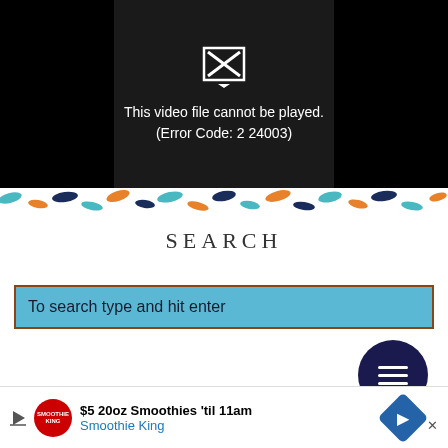[Figure (screenshot): Video player showing error: 'This video file cannot be played. (Error Code: 2 24003)' with a broken video icon on black background]
[Figure (illustration): Decorative horizontal border strip with colorful fish/dash shapes in teal, orange, and navy on white background]
SEARCH
To search type and hit enter
[Figure (screenshot): Dark navy circular menu button with three horizontal white lines (hamburger icon)]
Spicy Lime & Honey Wings
[Figure (screenshot): Advertisement banner: '$5 20oz Smoothies 'til 11am' from Smoothie King with logo and navigation icon]